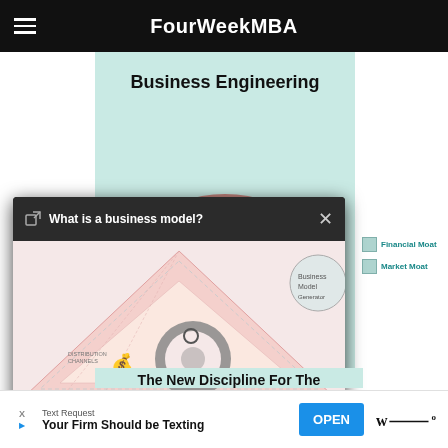FourWeekMBA
[Figure (infographic): Book/infographic cover with teal background titled 'Business Engineering', with a large pink/red circular shape and moat labels (Financial Moat, Market Moat). A video popup overlay is visible showing a business model diagram with a triangle and circular ring graphic, titled 'What is a business model?' with video controls showing -4:34 time remaining.]
The New Discipline For The
Text Request
Your Firm Should be Texting